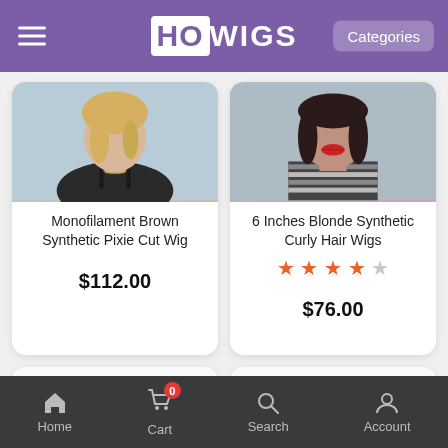HOWIGS – Categories
[Figure (screenshot): Product card: Monofilament Brown Synthetic Pixie Cut Wig, photo of woman with blonde hair in black dress, price $112.00]
[Figure (screenshot): Product card: 6 Inches Blonde Synthetic Curly Hair Wigs, photo of woman with dark hair and striped scarf, 3.5 star rating, price $76.00]
[Figure (screenshot): Product card loading spinner (bottom left)]
[Figure (screenshot): Product card loading spinner (bottom right)]
Home  Cart 0  Search  Account